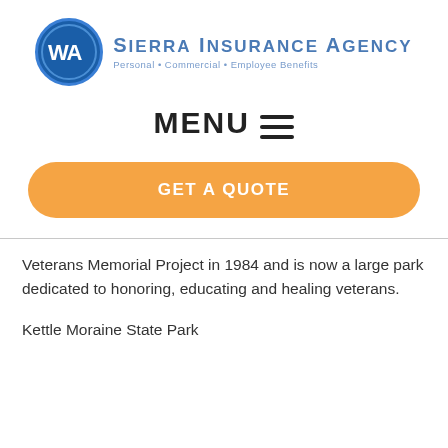[Figure (logo): Sierra Insurance Agency logo: blue circle with white 'WA' text, next to company name 'Sierra Insurance Agency' with tagline 'Personal • Commercial • Employee Benefits']
MENU ≡
GET A QUOTE
Veterans Memorial Project in 1984 and is now a large park dedicated to honoring, educating and healing veterans.
Kettle Moraine State Park